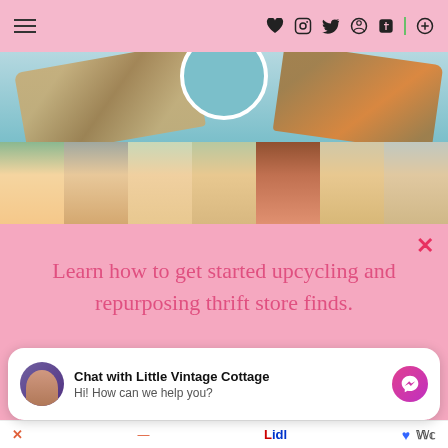Navigation bar with hamburger menu and social icons (heart, Instagram, Twitter, Pinterest, Facebook, separator, search)
[Figure (photo): Hero image showing craft/upcycling items including wooden pieces against a blue-teal background]
[Figure (photo): Row of seven women's faces/portraits in a horizontal strip]
Learn how to get started upcycling and repurposing thrift store finds.
GET THE FREE GUIDE
Chat with Little Vintage Cottage
Hi! How can we help you?
X  Lidl  [heart icon]  [W logo]